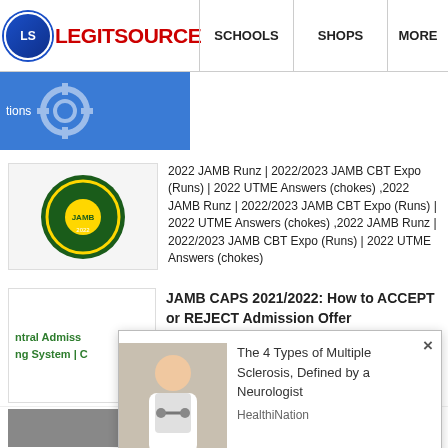LEGITSOURCE | SCHOOLS | SHOPS | MORE
[Figure (screenshot): Blue banner with gear icon partially visible, labeled 'tions']
[Figure (logo): JAMB circular green logo/seal]
2022 JAMB Runz | 2022/2023 JAMB CBT Expo (Runs) | 2022 UTME Answers (chokes) ,2022 JAMB Runz | 2022/2023 JAMB CBT Expo (Runs) | 2022 UTME Answers (chokes) ,2022 JAMB Runz | 2022/2023 JAMB CBT Expo (Runs) | 2022 UTME Answers (chokes)
[Figure (screenshot): JAMB CAPS Central Admissions Processing System thumbnail]
JAMB CAPS 2021/2022: How to ACCEPT or REJECT Admission Offer
See all coming soon »
TRENDING NOW
[Figure (photo): Doctor and patient consultation photo used in advertisement]
The 4 Types of Multiple Sclerosis, Defined by a Neurologist
HealthiNation
PurpleAds
Started Synagogue Ministry